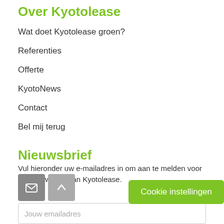Over Kyotolease
Wat doet Kyotolease groen?
Referenties
Offerte
KyotoNews
Contact
Bel mij terug
Nieuwsbrief
Vul hieronder uw e-mailadres in om aan te melden voor de nieuwsbrief van Kyotolease.
Jouw emailadres
Cookie instellingen